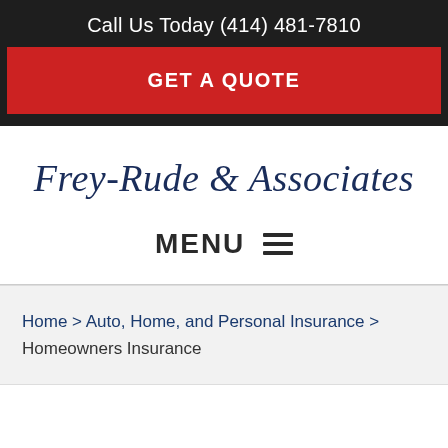Call Us Today (414) 481-7810
GET A QUOTE
Frey-Rude & Associates
MENU
Home > Auto, Home, and Personal Insurance > Homeowners Insurance